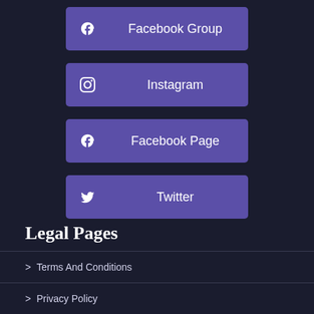Facebook Group
Instagram
Facebook Page
Twitter
Legal Pages
› Terms And Conditions
› Privacy Policy